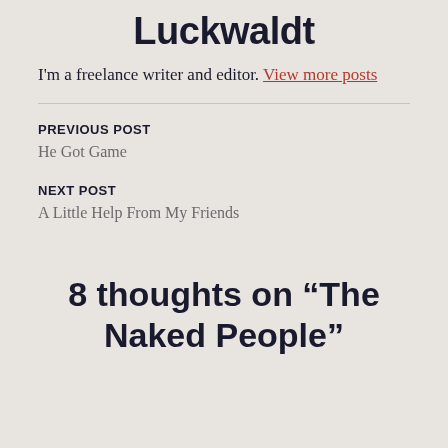Luckwaldt
I'm a freelance writer and editor. View more posts
PREVIOUS POST
He Got Game
NEXT POST
A Little Help From My Friends
8 thoughts on “The Naked People”